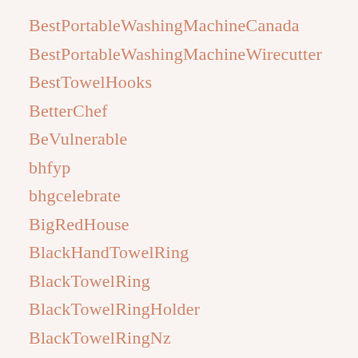BestPortableWashingMachineCanada
BestPortableWashingMachineWirecutter
BestTowelHooks
BetterChef
BeVulnerable
bhfyp
bhgcelebrate
BigRedHouse
BlackHandTowelRing
BlackTowelRing
BlackTowelRingHolder
BlackTowelRingNz
Bolillo
BonNoces
Boptroger